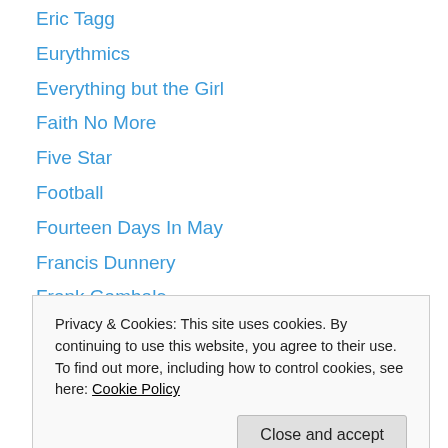Eric Tagg
Eurythmics
Everything but the Girl
Faith No More
Five Star
Football
Fourteen Days In May
Francis Dunnery
Frank Gambale
Frank Sinatra
Frank Zappa
Frankie Goes To Hollywood
Free Jazz
Privacy & Cookies: This site uses cookies. By continuing to use this website, you agree to their use.
To find out more, including how to control cookies, see here: Cookie Policy
George Michael